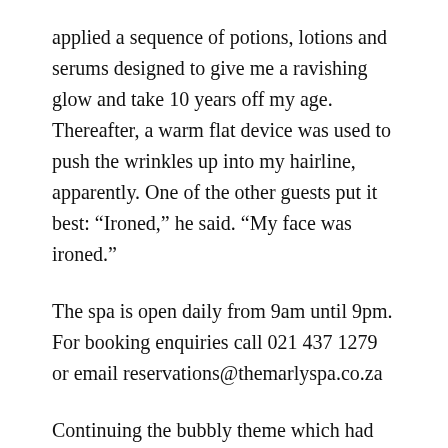applied a sequence of potions, lotions and serums designed to give me a ravishing glow and take 10 years off my age. Thereafter, a warm flat device was used to push the wrinkles up into my hairline, apparently. One of the other guests put it best: “Ironed,” he said. “My face was ironed.”
The spa is open daily from 9am until 9pm. For booking enquiries call 021 437 1279 or email reservations@themarlyspa.co.za
Continuing the bubbly theme which had been set in motion since lunchtime, it was time for the rooftop. The photographs you see here are